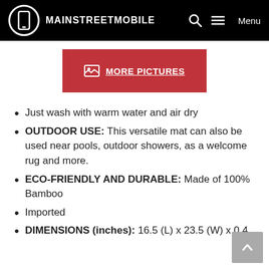MAINSTREETMOBILE
[Figure (other): Red button with image icon and text MORE PICTURES]
Just wash with warm water and air dry
OUTDOOR USE: This versatile mat can also be used near pools, outdoor showers, as a welcome rug and more.
ECO-FRIENDLY AND DURABLE: Made of 100% Bamboo
Imported
DIMENSIONS (inches): 16.5 (L) x 23.5 (W) x 0.4